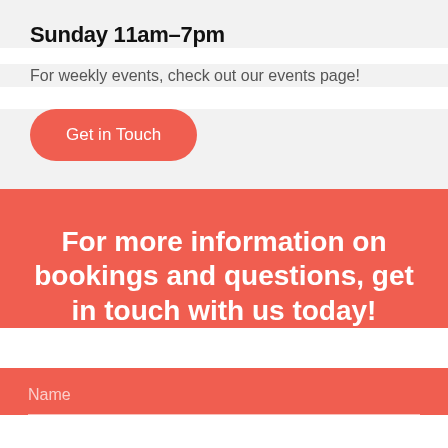Sunday 11am–7pm
For weekly events, check out our events page!
Get in Touch
For more information on bookings and questions, get in touch with us today!
Name